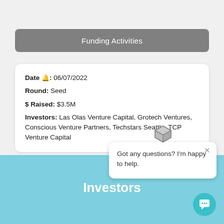Funding Activities
Date 📢: 06/07/2022
Round: Seed
$ Raised: $3.5M
Investors: Las Olas Venture Capital, Grotech Ventures, Conscious Venture Partners, Techstars Seattle, TCP Venture Capital
Got any questions? I'm happy to help.
Investors